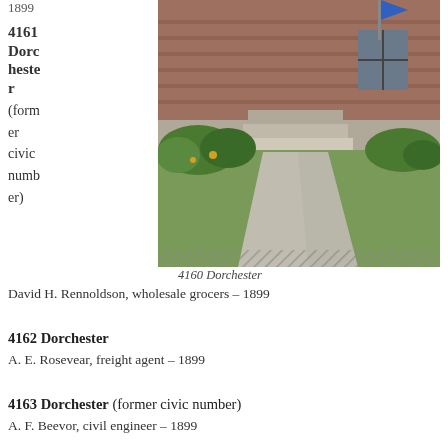1899
4161 Dorchester (former civic number)
David H. Rennoldson, wholesale grocers – 1899
[Figure (photo): Photograph of a brick house at 4160 Dorchester with front steps, garden, and lawn visible.]
4160 Dorchester
4162 Dorchester
A. E. Rosevear, freight agent – 1899
4163 Dorchester (former civic number)
A. F. Beevor, civil engineer – 1899